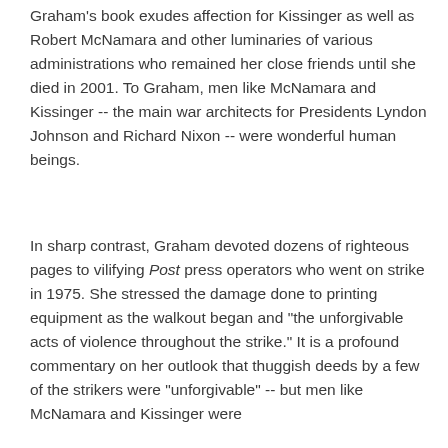Graham's book exudes affection for Kissinger as well as Robert McNamara and other luminaries of various administrations who remained her close friends until she died in 2001. To Graham, men like McNamara and Kissinger -- the main war architects for Presidents Lyndon Johnson and Richard Nixon -- were wonderful human beings.
In sharp contrast, Graham devoted dozens of righteous pages to vilifying Post press operators who went on strike in 1975. She stressed the damage done to printing equipment as the walkout began and "the unforgivable acts of violence throughout the strike." It is a profound commentary on her outlook that thuggish deeds by a few of the strikers were "unforgivable" -- but men like McNamara and Kissinger were